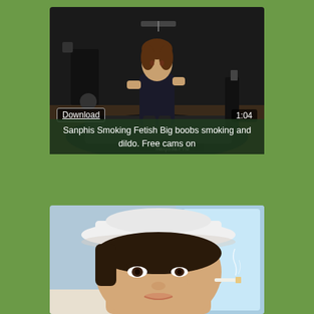[Figure (screenshot): Video thumbnail: woman in black dress sitting on dark bed in dimly lit studio setting with equipment visible. Overlay shows Download button, duration 1:04, and title 'Sanphis Smoking Fetish Big boobs smoking and dildo. Free cams on']
[Figure (screenshot): Video thumbnail: close-up of woman wearing white cowboy hat, smoking, viewed from slightly below]